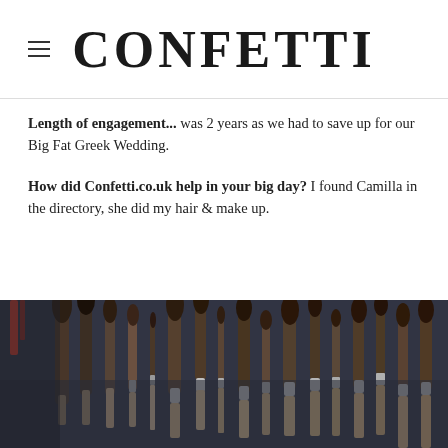CONFETTI
Length of engagement... was 2 years as we had to save up for our Big Fat Greek Wedding.
How did Confetti.co.uk help in your big day? I found Camilla in the directory, she did my hair & make up.
[Figure (photo): Close-up photo of a collection of makeup brushes in a case, with varied brush sizes and shapes]